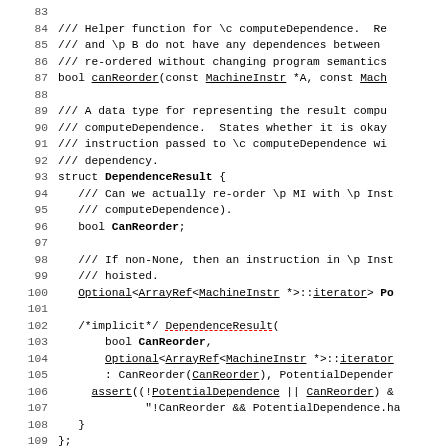Source code listing showing lines 83-112 of a C++ header file defining canReorder and DependenceResult struct
[Figure (screenshot): C++ source code with line numbers 83-112 showing helper function declarations and DependenceResult struct definition]